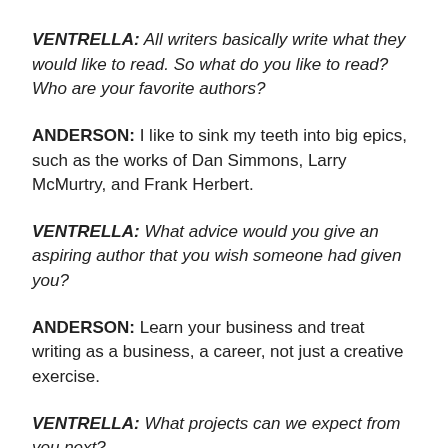VENTRELLA: All writers basically write what they would like to read. So what do you like to read? Who are your favorite authors?
ANDERSON: I like to sink my teeth into big epics, such as the works of Dan Simmons, Larry McMurtry, and Frank Herbert.
VENTRELLA: What advice would you give an aspiring author that you wish someone had given you?
ANDERSON: Learn your business and treat writing as a business, a career, not just a creative exercise.
VENTRELLA: What projects can we expect from you next?
ANDERSON: I've got more Dan Shamble Zombie PI